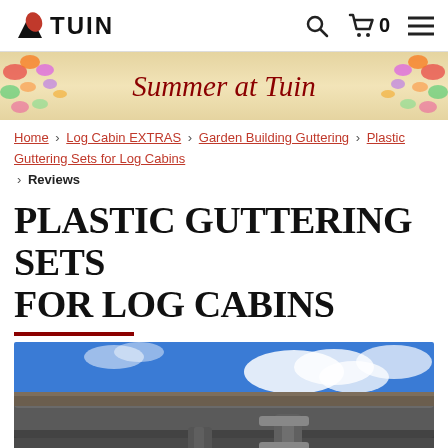TUIN — navigation header with logo, search, cart (0), and menu icons
[Figure (illustration): Summer at Tuin banner with floral decorations on left and right, cursive red text reading 'Summer at Tuin']
Home > Log Cabin EXTRAS > Garden Building Guttering > Plastic Guttering Sets for Log Cabins > Reviews
PLASTIC GUTTERING SETS FOR LOG CABINS
[Figure (photo): Close-up photo of dark grey plastic guttering installed on a building roofline against a blue sky with white clouds]